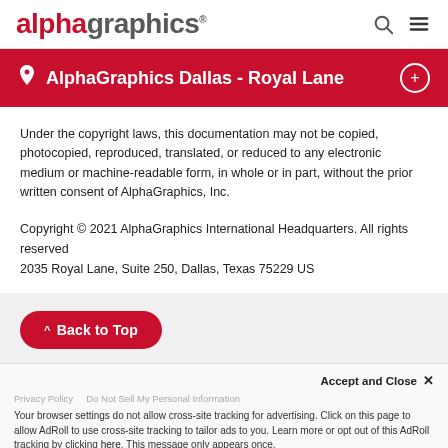alphagraphics®
AlphaGraphics Dallas - Royal Lane
Under the copyright laws, this documentation may not be copied, photocopied, reproduced, translated, or reduced to any electronic medium or machine-readable form, in whole or in part, without the prior written consent of AlphaGraphics, Inc.
Copyright © 2021 AlphaGraphics International Headquarters. All rights reserved
2035 Royal Lane, Suite 250, Dallas, Texas 75229 US
^ Back to Top
Accept and Close ×
Privacy Policy   Do Not Sell My Personal Information
Your browser settings do not allow cross-site tracking for advertising. Click on this page to allow AdRoll to use cross-site tracking to tailor ads to you. Learn more or opt out of this AdRoll tracking by clicking here. This message only appears once.